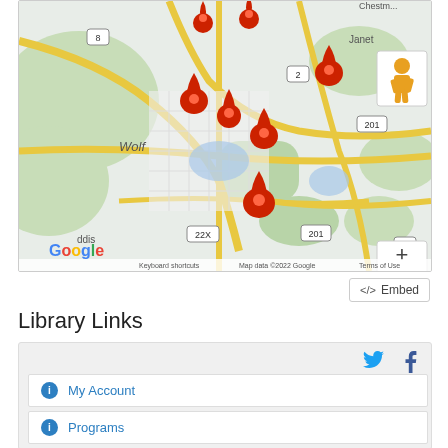[Figure (map): Google Maps view showing multiple red location pins scattered around a city area labeled 'Wolf'. Roads include routes 8, 2, 201, 22X. Map attribution: 'Google', 'Keyboard shortcuts', 'Map data ©2022 Google', 'Terms of Use'. Controls include a Street View person icon, zoom in (+) and zoom out (-) buttons.]
<> Embed
Library Links
[Figure (other): Gray card panel with Twitter (bird) and Facebook (f) social media icons in blue on the right side, containing two white link items below.]
ⓘ My Account
ⓘ Programs